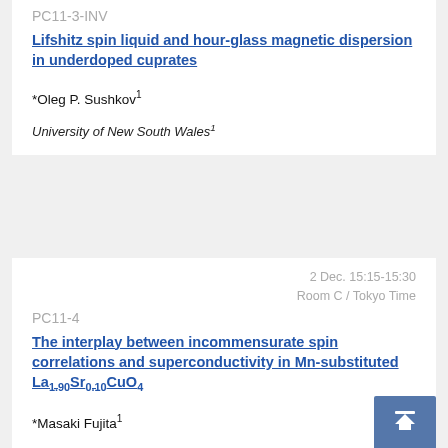PC11-3-INV
Lifshitz spin liquid and hour-glass magnetic dispersion in underdoped cuprates
*Oleg P. Sushkov¹
University of New South Wales¹
2 Dec. 15:15-15:30
Room C / Tokyo Time
PC11-4
The interplay between incommensurate spin correlations and superconductivity in Mn-substituted La₁.₉₀Sr₀.₁₀CuO₄
*Masaki Fujita¹